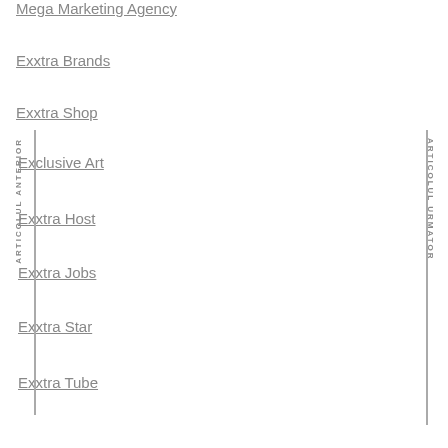Mega Marketing Agency
Exxtra Brands
Exxtra Shop
Exclusive Art
Exxtra Host
Exxtra Jobs
Exxtra Star
Exxtra Tube